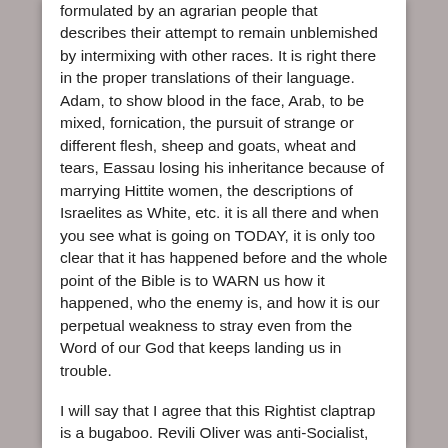formulated by an agrarian people that describes their attempt to remain unblemished by intermixing with other races. It is right there in the proper translations of their language. Adam, to show blood in the face, Arab, to be mixed, fornication, the pursuit of strange or different flesh, sheep and goats, wheat and tears, Eassau losing his inheritance because of marrying Hittite women, the descriptions of Israelites as White, etc. it is all there and when you see what is going on TODAY, it is only too clear that it has happened before and the whole point of the Bible is to WARN us how it happened, who the enemy is, and how it is our perpetual weakness to stray even from the Word of our God that keeps landing us in trouble.
I will say that I agree that this Rightist claptrap is a bugaboo. Revili Oliver was anti-Socialist, and I would conclude that while he sympathized with NS Germany and understood that Hitler and he shared a common enemy, he might have some issues with NS in the long run. Even as erudite and well spoken a man as he was too willing to play loose and easy with terms like Socialism and apply them to his